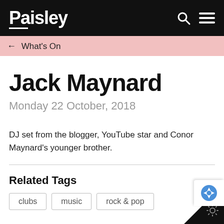Paisley
← What's On
Jack Maynard
Monday 22 October, 2018
DJ set from the blogger, YouTube star and Conor Maynard's younger brother.
Related Tags
clubs
music
rock & pop